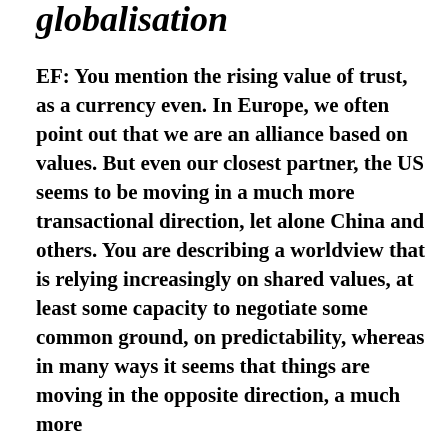globalisation
EF: You mention the rising value of trust, as a currency even. In Europe, we often point out that we are an alliance based on values. But even our closest partner, the US seems to be moving in a much more transactional direction, let alone China and others. You are describing a worldview that is relying increasingly on shared values, at least some capacity to negotiate some common ground, on predictability, whereas in many ways it seems that things are moving in the opposite direction, a much more